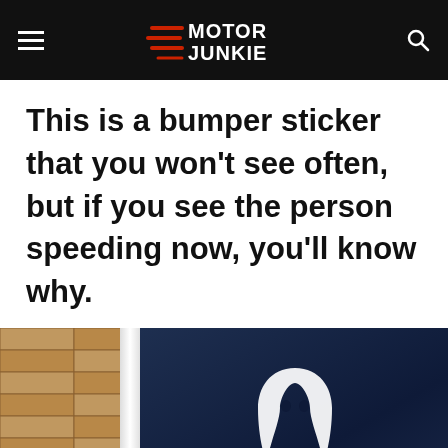Motor Junkie
This is a bumper sticker that you won’t see often, but if you see the person speeding now, you’ll know why.
[Figure (photo): Close-up photo of a car rear window with a bumper sticker. The left side shows a brick pavement, a white car body edge, and the rest shows a dark tinted car window with what appears to be a ghost-shaped sticker.]
Advertisement
[Figure (screenshot): Advertisement banner for BitLife - Life Simulator app showing a cartoon character and a red logo with a sperm icon, with an Install button.]